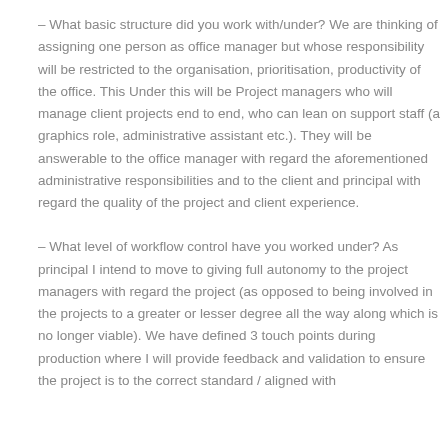– What basic structure did you work with/under? We are thinking of assigning one person as office manager but whose responsibility will be restricted to the organisation, prioritisation, productivity of the office. This Under this will be Project managers who will manage client projects end to end, who can lean on support staff (a graphics role, administrative assistant etc.). They will be answerable to the office manager with regard the aforementioned administrative responsibilities and to the client and principal with regard the quality of the project and client experience.
– What level of workflow control have you worked under? As principal I intend to move to giving full autonomy to the project managers with regard the project (as opposed to being involved in the projects to a greater or lesser degree all the way along which is no longer viable). We have defined 3 touch points during production where I will provide feedback and validation to ensure the project is to the correct standard / aligned with